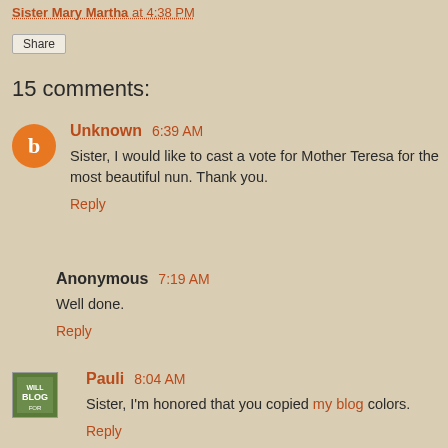Sister Mary Martha at 4:38 PM
Share
15 comments:
Unknown 6:39 AM
Sister, I would like to cast a vote for Mother Teresa for the most beautiful nun. Thank you.
Reply
Anonymous 7:19 AM
Well done.
Reply
Pauli 8:04 AM
Sister, I'm honored that you copied my blog colors.
Reply